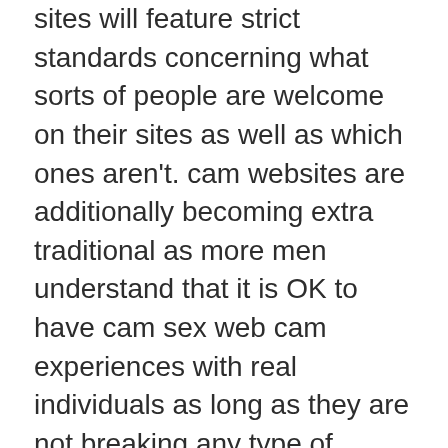sites will feature strict standards concerning what sorts of people are welcome on their sites as well as which ones aren't. cam websites are additionally becoming extra traditional as more men understand that it is OK to have cam sex web cam experiences with real individuals as long as they are not breaking any type of regulations. web cam lady web sites are no exception as well as there are plenty of them around for you to browse through if you are interested in having sex with webcam designs.
Just Looking For A Hookup Instead?